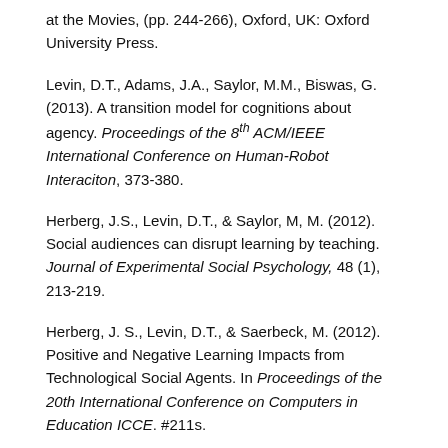at the Movies, (pp. 244-266), Oxford, UK: Oxford University Press.
Levin, D.T., Adams, J.A., Saylor, M.M., Biswas, G. (2013). A transition model for cognitions about agency. Proceedings of the 8th ACM/IEEE International Conference on Human-Robot Interaciton, 373-380.
Herberg, J.S., Levin, D.T., & Saylor, M, M. (2012). Social audiences can disrupt learning by teaching. Journal of Experimental Social Psychology, 48 (1), 213-219.
Herberg, J. S., Levin, D.T., & Saerbeck, M. (2012). Positive and Negative Learning Impacts from Technological Social Agents. In Proceedings of the 20th International Conference on Computers in Education ICCE. #211s.
Smith, T.J., Levin, D.T., & Cutting, J.E. (2012). A window on reality: Perceiving edited moving pictures. Current Directions in Psychological Sciences, 21 (2), 107-113.